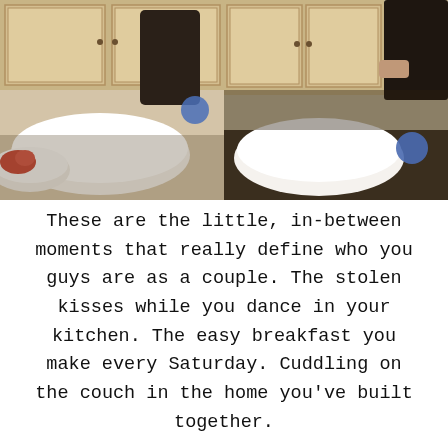[Figure (photo): Two side-by-side kitchen photos showing a couple cooking/baking together, with wooden cabinets, white mixing bowls, and ingredients visible.]
These are the little, in-between moments that really define who you guys are as a couple. The stolen kisses while you dance in your kitchen. The easy breakfast you make every Saturday. Cuddling on the couch in the home you've built together.
If you don't want to do your session at home, but still want those cozy at-home vibes, you can rent an AirBnB like Melissa + Luke did. This was their pre-elopement session, so it